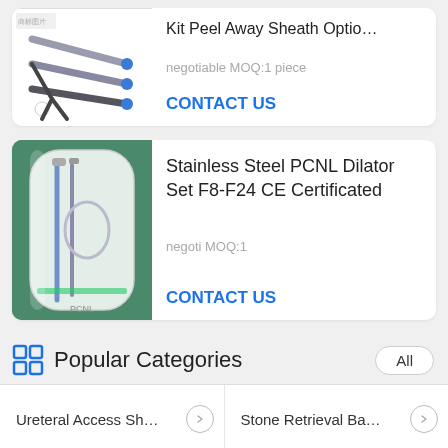[Figure (photo): Medical kit with peel away sheath, dilators on white background]
Kit Peel Away Sheath Optio...
negotiable MOQ:1 piece
CONTACT US
[Figure (photo): Stainless Steel PCNL Dilator Set packaged in clear plastic on green background]
Stainless Steel PCNL Dilator Set F8-F24 CE Certificated
negoti MOQ:1
CONTACT US
Popular Categories
Ureteral Access Sh...
Stone Retrieval Ba...
PCNL Dilator Set
Zebra Guidewire